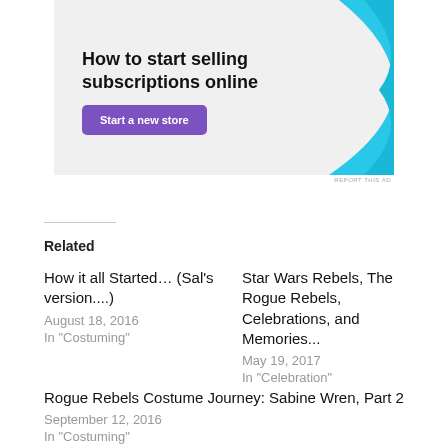[Figure (illustration): Advertisement banner with text 'How to start selling subscriptions online', a purple 'Start a new store' button, and a cyan/blue decorative shape on the right, on a light gray background.]
REPORT THIS AD
Related
How it all Started... (Sal's version....)
August 18, 2016
In "Costuming"
Star Wars Rebels, The Rogue Rebels, Celebrations, and Memories...
May 19, 2017
In "Celebration"
Rogue Rebels Costume Journey: Sabine Wren, Part 2
September 12, 2016
In "Costuming"